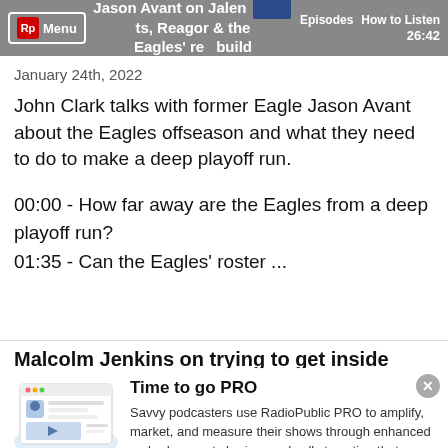Jason Avant on Jalen Hurts, Reagor & the Eagles' rebuild | Menu | Episodes | How to Listen | 26:42
January 24th, 2022
John Clark talks with former Eagle Jason Avant about the Eagles offseason and what they need to do to make a deep playoff run.
00:00 - How far away are the Eagles from a deep playoff run?
01:35 - Can the Eagles' roster ...
Malcolm Jenkins on trying to get inside
[Figure (screenshot): Promotional illustration of a podcast/radio app interface showing a podcast thumbnail and play button]
Time to go PRO
Savvy podcasters use RadioPublic PRO to amplify, market, and measure their shows through enhanced embeds, smart sharing, and calls to action that convert.
Get started